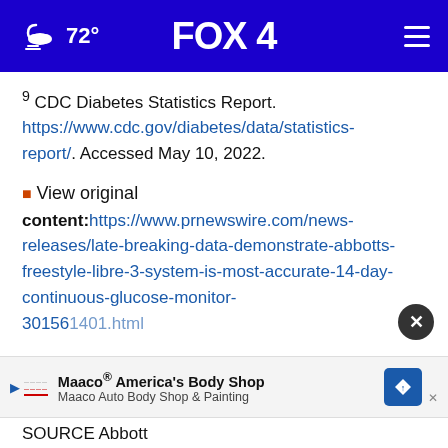FOX 4 — 72°
9 CDC Diabetes Statistics Report. https://www.cdc.gov/diabetes/data/statistics-report/. Accessed May 10, 2022.
View original content:https://www.prnewswire.com/news-releases/late-breaking-data-demonstrate-abbotts-freestyle-libre-3-system-is-most-accurate-14-day-continuous-glucose-monitor-301561401.html
SOURCE Abbott